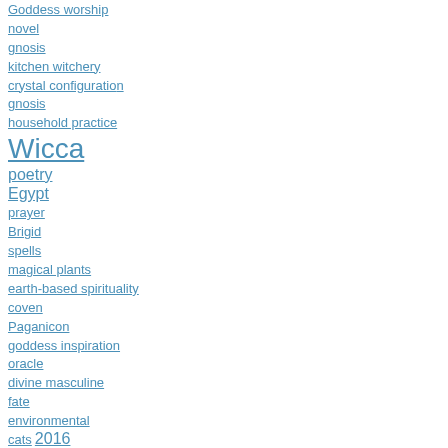Goddess worship
novel
gnosis
kitchen witchery
crystal configuration
gnosis
household practice
Wicca
poetry
Egypt
prayer
Brigid
spells
magical plants
earth-based spirituality
coven
Paganicon
goddess inspiration
oracle
divine masculine
fate
environmental
cats  2016
omens
Book Review
Taylor Ellwood
Reconstruction